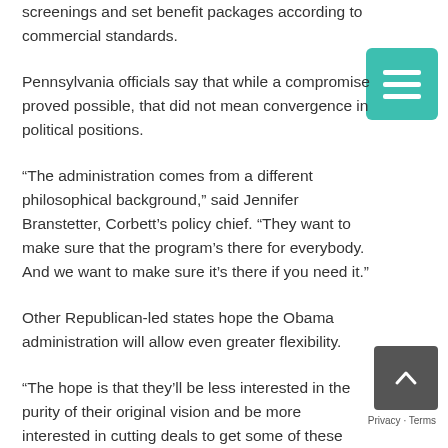screenings and set benefit packages according to commercial standards.
Pennsylvania officials say that while a compromise proved possible, that did not mean convergence in political positions.
“The administration comes from a different philosophical background,” said Jennifer Branstetter, Corbett’s policy chief. “They want to make sure that the program’s there for everybody. And we want to make sure it’s there if you need it.”
Other Republican-led states hope the Obama administration will allow even greater flexibility.
“The hope is that they’ll be less interested in the purity of their original vision and be more interested in cutting deals to get some of these things done,” said Tony Venhuizen, spokesman for South Dakota’s Republican Governor Dennis Daugaard, who has been open to a Medicaid expansion.
[Figure (other): Teal/green hamburger menu icon button]
[Figure (other): Dark grey scroll-to-top button with upward chevron arrow]
Privacy · Terms